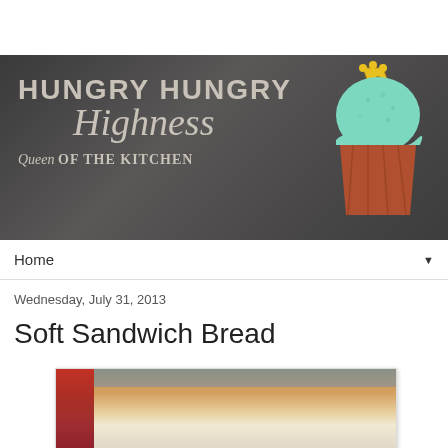[Figure (logo): Hungry Hungry Highness blog header banner on dark chalkboard background with cupcake illustration and crown]
Home
Wednesday, July 31, 2013
Soft Sandwich Bread
[Figure (photo): Photo of a loaf of soft sandwich bread with red checkered cloth and blue background]